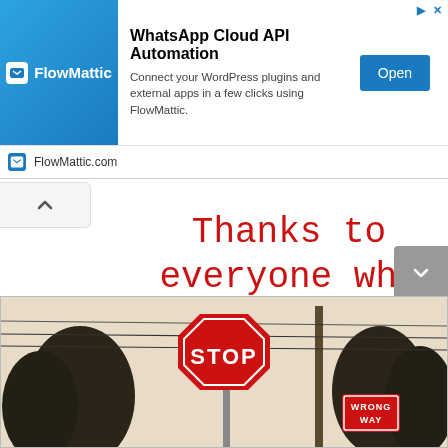[Figure (screenshot): Advertisement banner for FlowMattic WhatsApp Cloud API Automation WordPress plugin, showing logo, description text, and Open button]
Thanks to everyone who enjoys my site, please look for another update soon.
[Figure (photo): Photo of a STOP sign and WRONG WAY sign on a pole, with evergreen trees and power lines in the background, vintage sepia tone]